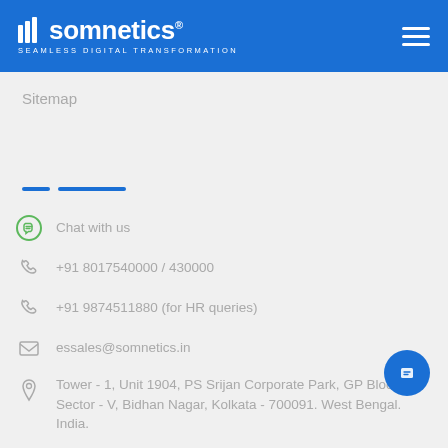[Figure (logo): Somnetics logo with bar chart icon and tagline SEAMLESS DIGITAL TRANSFORMATION on blue header]
Sitemap
Chat with us
+91 8017540000 / 430000
+91 9874511880 (for HR queries)
essales@somnetics.in
Tower - 1, Unit 1904, PS Srijan Corporate Park, GP Block, Sector - V, Bidhan Nagar, Kolkata - 700091. West Bengal. India.